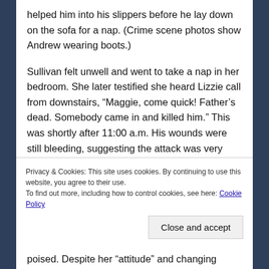helped him into his slippers before he lay down on the sofa for a nap. (Crime scene photos show Andrew wearing boots.)
Sullivan felt unwell and went to take a nap in her bedroom. She later testified she heard Lizzie call from downstairs, “Maggie, come quick! Father’s dead. Somebody came in and killed him.” This was shortly after 11:00 a.m. His wounds were still bleeding, suggesting the attack was very recent. Detectives estimated his death had occurred at approximately 11:00.
Lizzie’s initial answers to the police officers’
Privacy & Cookies: This site uses cookies. By continuing to use this website, you agree to their use.
To find out more, including how to control cookies, see here: Cookie Policy
Close and accept
poised. Despite her “attitude” and changing